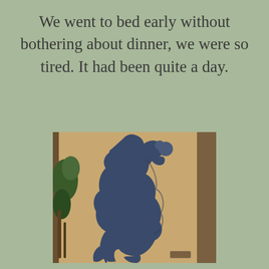We went to bed early without bothering about dinner, we were so tired. It had been quite a day.
[Figure (photo): A metal silhouette sculpture of a figure, possibly a musician or dancer, mounted against a warm tan/brown adobe wall. The sculpture is dark blue-gray in color with an organic, dynamic pose. There are green plants/trees visible on the left side. A small plaque is visible at the bottom right of the sculpture.]